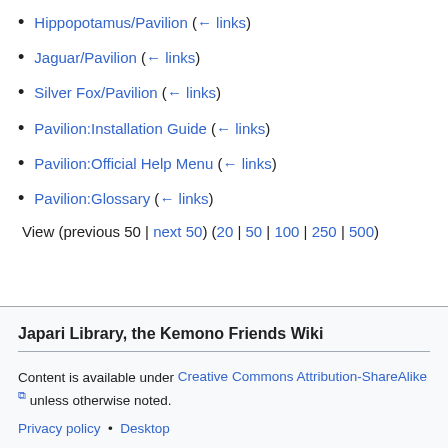Hippopotamus/Pavilion  (← links)
Jaguar/Pavilion  (← links)
Silver Fox/Pavilion  (← links)
Pavilion:Installation Guide  (← links)
Pavilion:Official Help Menu  (← links)
Pavilion:Glossary  (← links)
View (previous 50 | next 50) (20 | 50 | 100 | 250 | 500)
Japari Library, the Kemono Friends Wiki
Content is available under Creative Commons Attribution-ShareAlike unless otherwise noted.
Privacy policy • Desktop